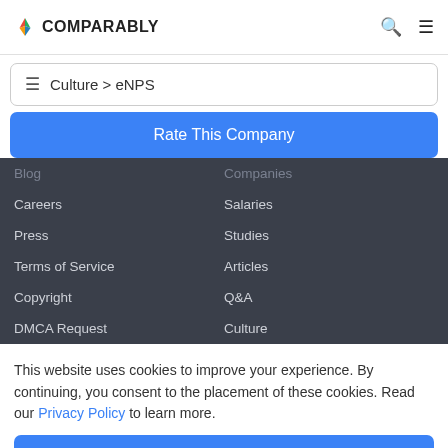COMPARABLY
Culture > eNPS
Rate This Company
Blog
Companies
Careers
Salaries
Press
Studies
Terms of Service
Articles
Copyright
Q&A
DMCA Request
Culture
This website uses cookies to improve your experience. By continuing, you consent to the placement of these cookies. Read our Privacy Policy to learn more.
ACCEPT